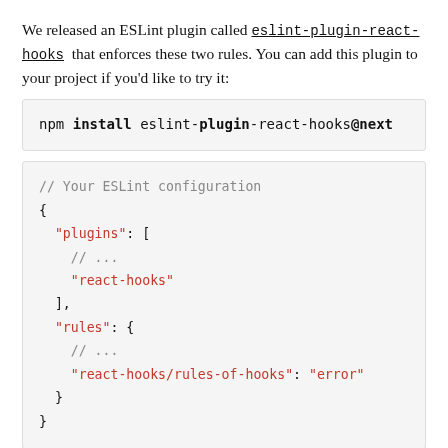We released an ESLint plugin called eslint-plugin-react-hooks that enforces these two rules. You can add this plugin to your project if you'd like to try it:
npm install eslint-plugin-react-hooks@next
// Your ESLint configuration
{
  "plugins": [
    // ...
    "react-hooks"
  ],
  "rules": {
    // ...
    "react-hooks/rules-of-hooks": "error"
  }
}
In the future, we intend to include this plugin by default into